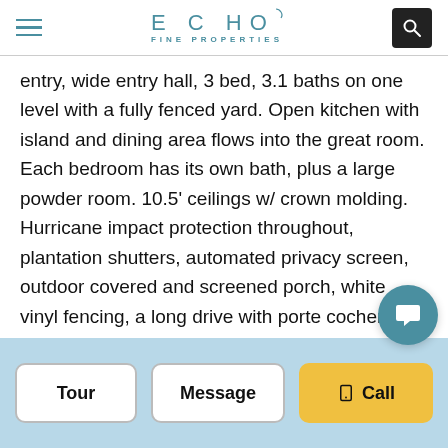ECHO FINE PROPERTIES
entry, wide entry hall, 3 bed, 3.1 baths on one level with a fully fenced yard. Open kitchen with island and dining area flows into the great room. Each bedroom has its own bath, plus a large powder room. 10.5' ceilings w/ crown molding. Hurricane impact protection throughout, plantation shutters, automated privacy screen, outdoor covered and screened porch, white vinyl fencing, a long drive with porte cochere, + garage w/ lots of storage. Community has wonderful fitness center and 2 pools. Recent updates: A/C, water heater, retractable screen. Sold partially furnished, chandelie
Tour | Message | Call